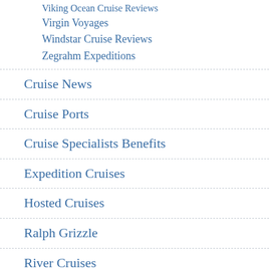Viking Ocean Cruise Reviews
Virgin Voyages
Windstar Cruise Reviews
Zegrahm Expeditions
Cruise News
Cruise Ports
Cruise Specialists Benefits
Expedition Cruises
Hosted Cruises
Ralph Grizzle
River Cruises